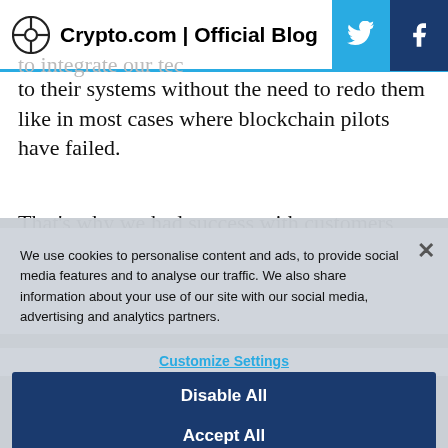Crypto.com | Official Blog
to their systems without the need to redo them like in most cases where blockchain pilots have failed.
That’s why we had success with customers who live in the Cha...
We use cookies to personalise content and ads, to provide social media features and to analyse our traffic. We also share information about your use of our site with our social media, advertising and analytics partners.
Customize Settings
Disable All
Accept All